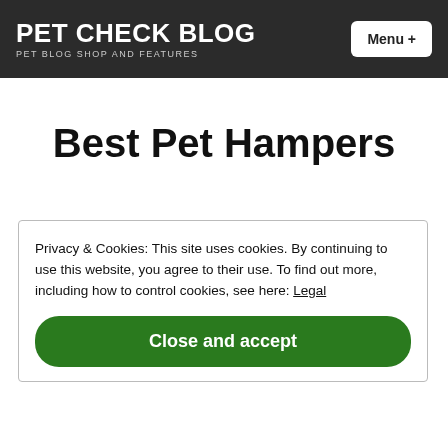PET CHECK BLOG
PET BLOG SHOP AND FEATURES
Best Pet Hampers
Privacy & Cookies: This site uses cookies. By continuing to use this website, you agree to their use. To find out more, including how to control cookies, see here: Legal
Close and accept